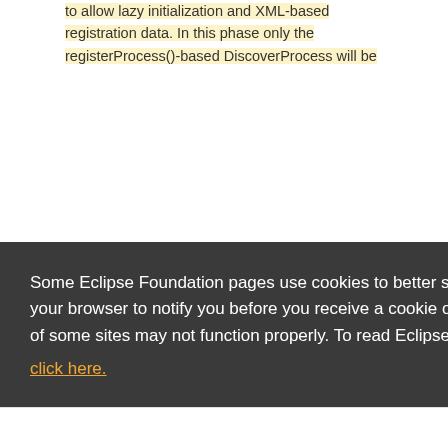to allow lazy initialization and XML-based registration data. In this phase only the registerProcess()-based DiscoverProcess will be
Some Eclipse Foundation pages use cookies to better serve you when you return to the site. You can set your browser to notify you before you receive a cookie or turn off cookies. If you do so, however, some areas of some sites may not function properly. To read Eclipse Foundation Privacy Policy click here.